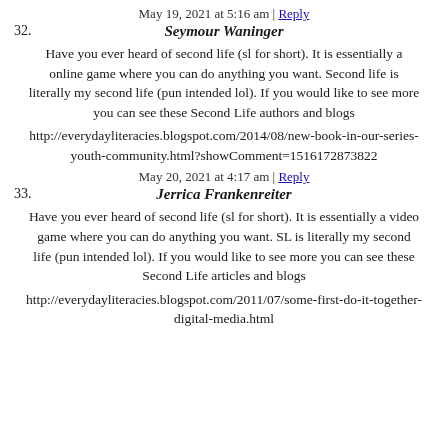May 19, 2021 at 5:16 am | Reply
32. Seymour Waninger
Have you ever heard of second life (sl for short). It is essentially a online game where you can do anything you want. Second life is literally my second life (pun intended lol). If you would like to see more you can see these Second Life authors and blogs
http://everydayliteracies.blogspot.com/2014/08/new-book-in-our-series-youth-community.html?showComment=1516172873822
May 20, 2021 at 4:17 am | Reply
33. Jerrica Frankenreiter
Have you ever heard of second life (sl for short). It is essentially a video game where you can do anything you want. SL is literally my second life (pun intended lol). If you would like to see more you can see these Second Life articles and blogs
http://everydayliteracies.blogspot.com/2011/07/some-first-do-it-together-digital-media.html